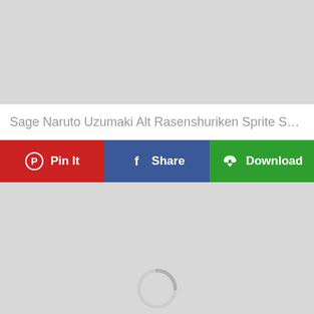[Figure (other): Gray placeholder image area at top of page]
Sage Naruto Uzumaki Alt Rasenshuriken Sprite Sheet ...
[Figure (other): Row of three action buttons: Pin It (red, Pinterest icon), Share (blue, Facebook icon), Download (green, cloud download icon)]
[Figure (other): Gray placeholder image area with loading spinner at the bottom]